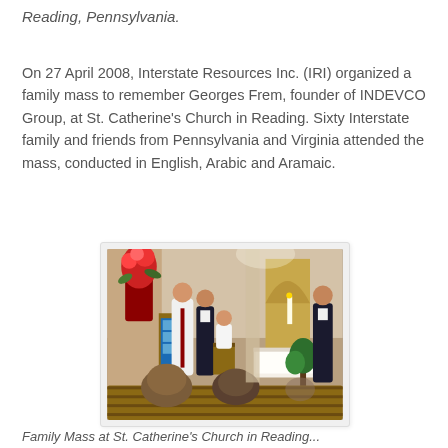Reading, Pennsylvania.
On 27 April 2008, Interstate Resources Inc. (IRI) organized a family mass to remember Georges Frem, founder of INDEVCO Group, at St. Catherine’s Church in Reading. Sixty Interstate family and friends from Pennsylvania and Virginia attended the mass, conducted in English, Arabic and Aramaic.
[Figure (photo): Interior of St. Catherine’s Church in Reading during the family mass. A priest in white vestments stands at the pulpit, a man in a dark suit stands nearby, a child in white sits in a chair, and a man in a dark suit stands to the right near the altar. Attendees are seen from behind seated in wooden pews.]
Family Mass at St. Catherine’s Church in Reading...